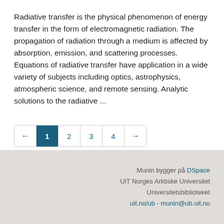Radiative transfer is the physical phenomenon of energy transfer in the form of electromagnetic radiation. The propagation of radiation through a medium is affected by absorption, emission, and scattering processes. Equations of radiative transfer have application in a wide variety of subjects including optics, astrophysics, atmospheric science, and remote sensing. Analytic solutions to the radiative ...
[Figure (other): Pagination control with left arrow, page 1 (active/highlighted in teal), pages 2, 3, 4, and right arrow]
Munin bygger på DSpace
UiT Norges Arktiske Universitet
Universitetsbiblioteket
uit.no/ub - munin@ub.uit.no